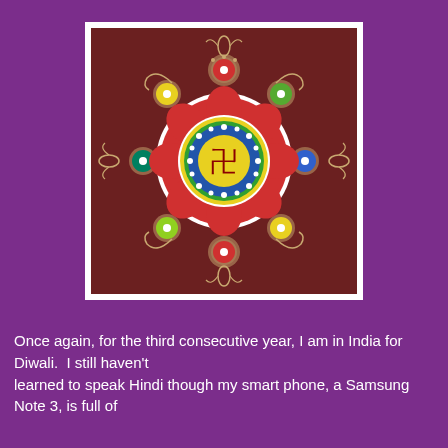[Figure (illustration): A colorful rangoli design (Indian decorative art) featuring a central swastika symbol surrounded by concentric circles and floral patterns, with multiple colored circles (red, yellow, green, blue, teal, pink, magenta, lime green) arranged symmetrically around the outside on a dark brown background, with intricate gold/white scroll and curl decorations. The image is framed with a white border.]
Once again, for the third consecutive year, I am in India for Diwali.  I still haven't learned to speak Hindi though my smart phone, a Samsung Note 3, is full of Hindi apps which I should be learning with, carefully, if I